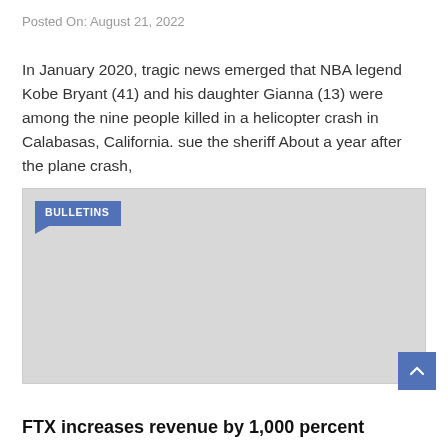Posted On: August 21, 2022
In January 2020, tragic news emerged that NBA legend Kobe Bryant (41) and his daughter Gianna (13) were among the nine people killed in a helicopter crash in Calabasas, California. sue the sheriff About a year after the plane crash,
[Figure (other): Gray placeholder image block with a 'BULLETINS' label tag in the top-left corner]
FTX increases revenue by 1,000 percent